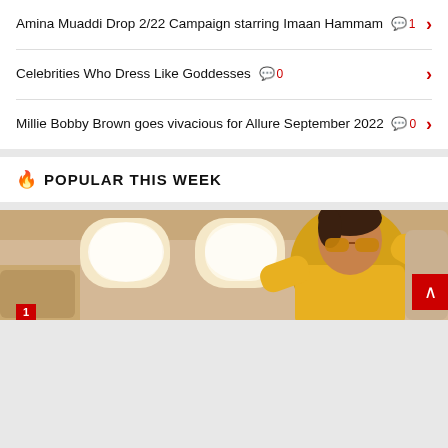Amina Muaddi Drop 2/22 Campaign starring Imaan Hammam 💬1
Celebrities Who Dress Like Goddesses 💬0
Millie Bobby Brown goes vivacious for Allure September 2022 💬0
🔥 POPULAR THIS WEEK
[Figure (photo): Woman in yellow hoodie and sunglasses posing dramatically inside an airplane cabin with oval windows visible in background]